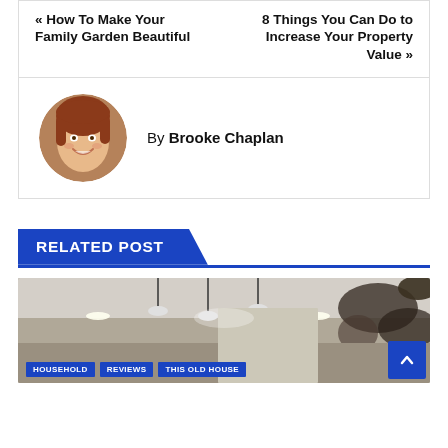« How To Make Your Family Garden Beautiful
8 Things You Can Do to Increase Your Property Value »
By Brooke Chaplan
[Figure (photo): Circular portrait photo of Brooke Chaplan, a woman with reddish-brown hair, smiling]
RELATED POST
[Figure (photo): Interior room photo showing mold damage on ceiling and walls, with pendant lights. Tags: HOUSEHOLD, REVIEWS, THIS OLD HOUSE]